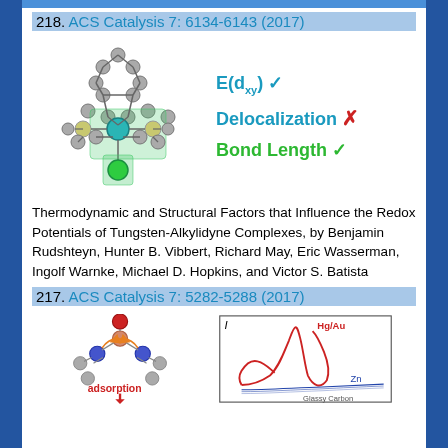218. ACS Catalysis 7: 6134-6143 (2017)
[Figure (illustration): Tungsten-alkylidyne complex molecular structure with annotations: E(d_xy) checkmark, Delocalization X, Bond Length checkmark]
Thermodynamic and Structural Factors that Influence the Redox Potentials of Tungsten-Alkylidyne Complexes, by Benjamin Rudshteyn, Hunter B. Vibbert, Richard May, Eric Wasserman, Ingolf Warnke, Michael D. Hopkins, and Victor S. Batista
217. ACS Catalysis 7: 5282-5288 (2017)
[Figure (illustration): Left: molecule adsorption diagram with central atom, O, two N atoms, orange curved arrows, and red adsorption arrow. Right: electrochemistry cyclic voltammetry chart showing Hg/Au (red large loop) and Zn (blue small curves) vs Glassy Carbon electrode.]